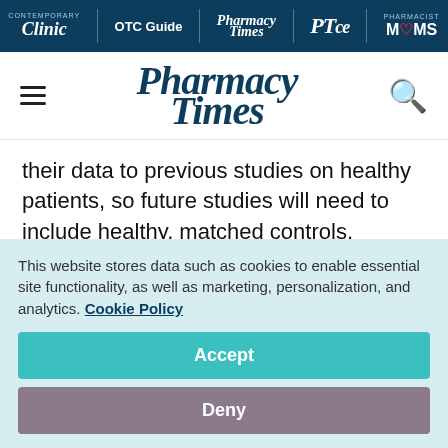Clinic | OTC Guide | Pharmacy Times | PTce | Pharmacist MOMS
[Figure (logo): Pharmacy Times logo with hamburger menu on left and search icon on right]
their data to previous studies on healthy patients, so future studies will need to include healthy, matched controls.
“That the time that [doctors] spend and the relationship that they build with [their patients]
This website stores data such as cookies to enable essential site functionality, as well as marketing, personalization, and analytics. Cookie Policy
Accept
Deny